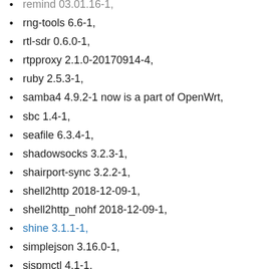remind 03.01.16-1,
rng-tools 6.6-1,
rtl-sdr 0.6.0-1,
rtpproxy 2.1.0-20170914-4,
ruby 2.5.3-1,
samba4 4.9.2-1 now is a part of OpenWrt,
sbc 1.4-1,
seafile 6.3.4-1,
shadowsocks 3.2.3-1,
shairport-sync 3.2.2-1,
shell2http 2018-12-09-1,
shell2http_nohf 2018-12-09-1,
shine 3.1.1-1,
simplejson 3.16.0-1,
sispmctl 4.1-1,
snmpd 5.8-1,
snmptrapd 5.8-1,
socat 1.7.3.2-4,
sockd 1.4.1-2,